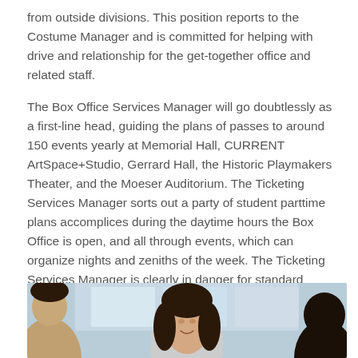from outside divisions. This position reports to the Costume Manager and is committed for helping with drive and relationship for the get-together office and related staff.
The Box Office Services Manager will go doubtlessly as a first-line head, guiding the plans of passes to around 150 events yearly at Memorial Hall, CURRENT ArtSpace+Studio, Gerrard Hall, the Historic Playmakers Theater, and the Moeser Auditorium. The Ticketing Services Manager sorts out a party of student parttime plans accomplices during the daytime hours the Box Office is open, and all through events, which can organize nights and zeniths of the week. The Ticketing Services Manager is clearly in danger for standard exercises and staffing of Carolina Performing Arts Box Office.
[Figure (photo): A smiling young woman with dark hair in a professional setting, with other people partially visible in the foreground and background.]